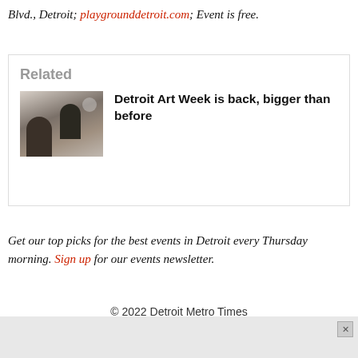Blvd., Detroit; playgrounddetroit.com; Event is free.
Related
[Figure (photo): Photo of two people sitting, associated with the related article about Detroit Art Week]
Detroit Art Week is back, bigger than before
Get our top picks for the best events in Detroit every Thursday morning. Sign up for our events newsletter.
© 2022 Detroit Metro Times
Powered by Foundation